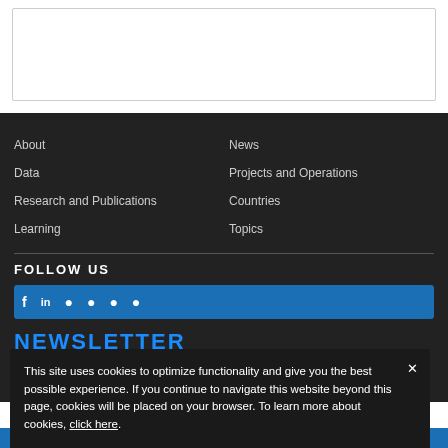[Figure (other): White top section with bordered empty box]
About
Data
Research and Publications
Learning
News
Projects and Operations
Countries
Topics
FOLLOW US
[Figure (other): Social media icons bar (Facebook, etc.) on blue background]
NEWSLETTER
SUBSCRIBE HERE >
This site uses cookies to optimize functionality and give you the best possible experience. If you continue to navigate this website beyond this page, cookies will be placed on your browser. To learn more about cookies, click here.